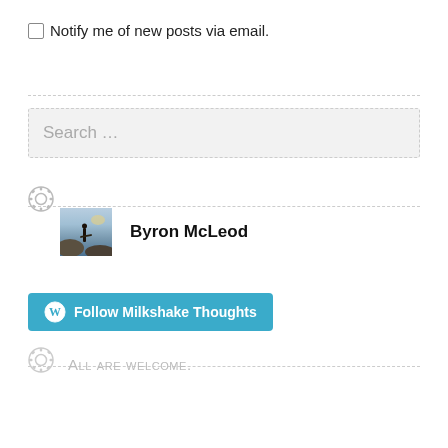Notify me of new posts via email.
Search ...
[Figure (photo): Profile photo of Byron McLeod: person standing with surfboard on a beach at dusk]
Byron McLeod
Follow Milkshake Thoughts
All are welcome.